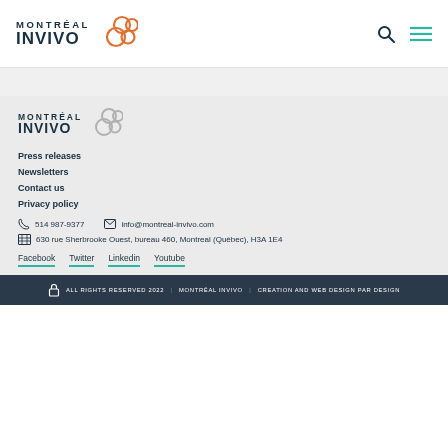[Figure (logo): Montréal InVivo logo with orange bubble icon in header]
Press releases
Newsletters
Contact us
Privacy policy
514 987-9377   info@montreal-invivo.com
630 rue Sherbrooke Ouest, bureau 460, Montreal (Québec), H3A 1E4
Facebook   Twitter   Linkedin   Youtube
ALL RIGHTS RESERVED 2022 | MONTRÉAL INVIVO | CREATION AND WEB DESIGN PAR DESIGN